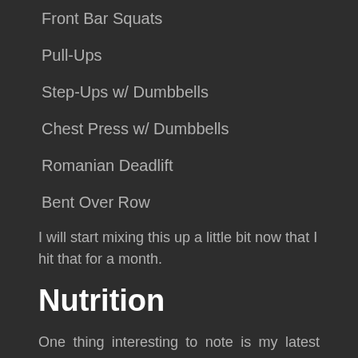Front Bar Squats
Pull-Ups
Step-Ups w/ Dumbbells
Chest Press w/ Dumbbells
Romanian Deadlift
Bent Over Row
I will start mixing this up a little bit now that I hit that for a month.
Nutrition
One thing interesting to note is my latest crave for Kombucha drinks… I've been drinking them often and swear my gut feels/functions better and the Kombucha drinks are really the only variable in my diet equation as